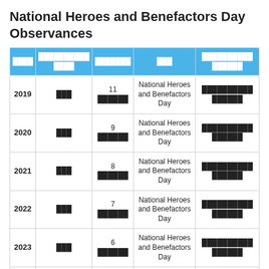National Heroes and Benefactors Day Observances
| Year | Weekday | Date | Name | Holiday Type |
| --- | --- | --- | --- | --- |
| 2019 | ███ | 11 ██████ | National Heroes and Benefactors Day | ██████████ ██████ |
| 2020 | ███ | 9 ██████ | National Heroes and Benefactors Day | ██████████ ██████ |
| 2021 | ███ | 8 ██████ | National Heroes and Benefactors Day | ██████████ ██████ |
| 2022 | ███ | 7 ██████ | National Heroes and Benefactors Day | ██████████ ██████ |
| 2023 | ███ | 6 ██████ | National Heroes and Benefactors Day | ██████████ ██████ |
| 2024 | ███ | 11 ██████ | National Heroes and Benefactors Day | ██████████ ██████ |
| 2025 | ███ | 10 ██████ | National Heroes and Benefactors Day | ██████████ ██████ |
We hope you have liked this article on National Heroes and Benefactors Day 2025 in Belize. Thank you for being on...